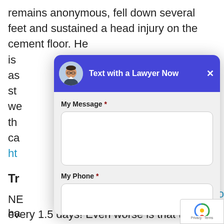remains anonymous, fell down several feet and sustained a head injury on the cement floor.  He is as st we th ca
ht
Tr
NE ha 70
every 1.5 days!  Even worse is that there are
[Figure (screenshot): A modal dialog overlay titled 'Text with a Lawyer Now' with a lawyer avatar photo, a 'My Message *' text area field, a 'My Phone *' text input field, and an orange 'SEND' button. The modal has a blue/purple header and light gray body background.]